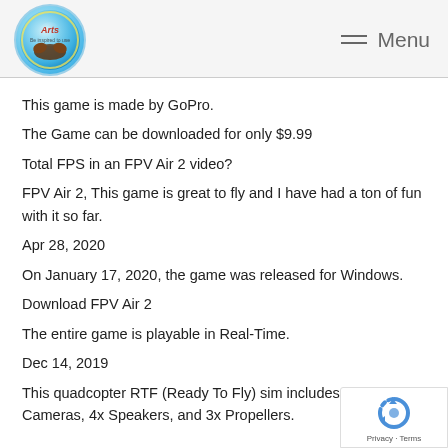[Figure (logo): Circular logo with blue/teal gradient background and hands holding a globe, with decorative text]
Menu
This game is made by GoPro.
The Game can be downloaded for only $9.99
Total FPS in an FPV Air 2 video?
FPV Air 2, This game is great to fly and I have had a ton of fun with it so far.
Apr 28, 2020
On January 17, 2020, the game was released for Windows.
Download FPV Air 2
The entire game is playable in Real-Time.
Dec 14, 2019
This quadcopter RTF (Ready To Fly) sim includes 4x FPV Cameras, 4x Speakers, and 3x Propellers.